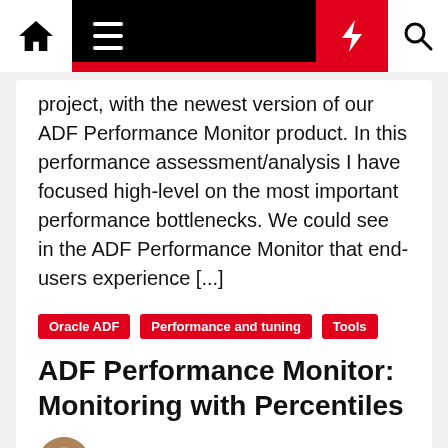Navigation bar with home, menu, bolt, and search icons
project, with the newest version of our ADF Performance Monitor product. In this performance assessment/analysis I have focused high-level on the most important performance bottlenecks. We could see in the ADF Performance Monitor that end-users experience [...]
Oracle ADF  Performance and tuning  Tools
ADF Performance Monitor: Monitoring with Percentiles
Frank Houweling  © July 11, 2018